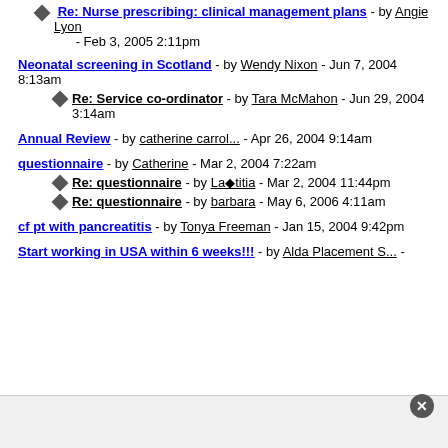Re: Nurse prescribing: clinical management plans - by Angie Lyon - Feb 3, 2005 2:11pm
Neonatal screening in Scotland - by Wendy Nixon - Jun 7, 2004 8:13am
Re: Service co-ordinator - by Tara McMahon - Jun 29, 2004 3:14am
Annual Review - by catherine carrol... - Apr 26, 2004 9:14am
questionnaire - by Catherine - Mar 2, 2004 7:22am
Re: questionnaire - by La titia - Mar 2, 2004 11:44pm
Re: questionnaire - by barbara - May 6, 2006 4:11am
cf pt with pancreatitis - by Tonya Freeman - Jan 15, 2004 9:42pm
Start working in USA within 6 weeks!!! - by Alda Placement S... -